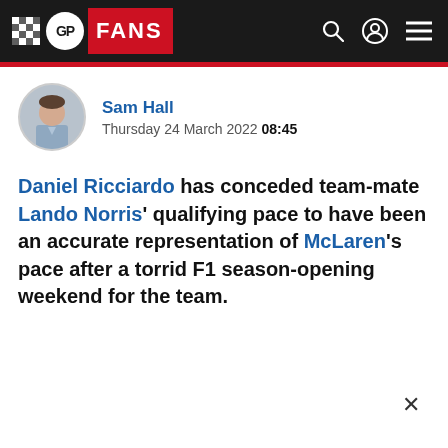GP FANS
[Figure (photo): Circular author headshot of Sam Hall, a man in a light blue shirt]
Sam Hall
Thursday 24 March 2022 08:45
Daniel Ricciardo has conceded team-mate Lando Norris' qualifying pace to have been an accurate representation of McLaren's pace after a torrid F1 season-opening weekend for the team.